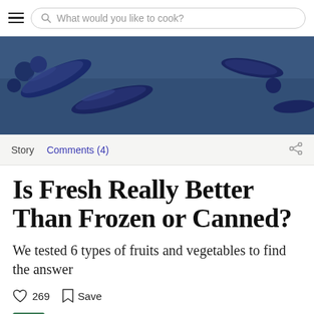What would you like to cook?
[Figure (photo): Blue background with frozen pea pods/vegetables arranged on a dark blue surface]
Story  Comments (4)
Is Fresh Really Better Than Frozen or Canned?
We tested 6 types of fruits and vegetables to find the answer
269  Save
Julia Stephan